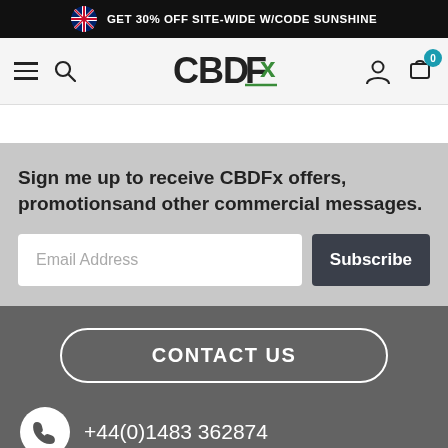GET 30% OFF SITE-WIDE W/CODE SUNSHINE
[Figure (logo): CBDFx logo with green Fx accent]
Sign me up to receive CBDFx offers, promotionsand other commercial messages.
Email Address
Subscribe
CONTACT US
+44(0)1483 362874